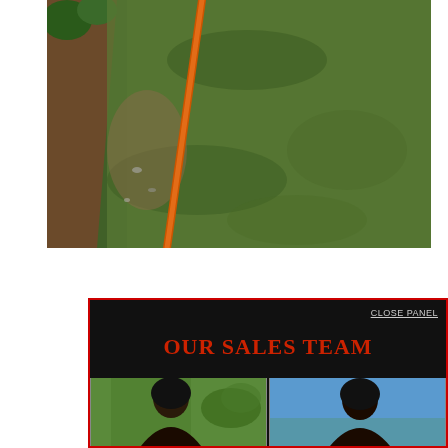[Figure (photo): Outdoor lawn/grass area with an orange spray-painted diagonal line marking on the ground, with some planted area visible at the left edge]
[Figure (screenshot): A dark panel with red border showing 'OUR SALES TEAM' heading in red text on black background, with 'CLOSE PANEL' link in top right, and two person portrait photos at the bottom]